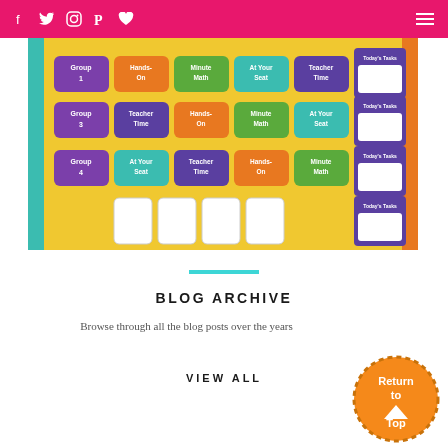Navigation bar with social icons (Facebook, Twitter, Instagram, Pinterest, Heart) and hamburger menu
[Figure (photo): Classroom bulletin board showing math rotation groups with colorful labeled cards: Group 1, Group 3, Group 4 with activities Hands-On, Minute Math, At Your Seat, Teacher Time, and Today's Tasks sections]
BLOG ARCHIVE
Browse through all the blog posts over the years
VIEW ALL